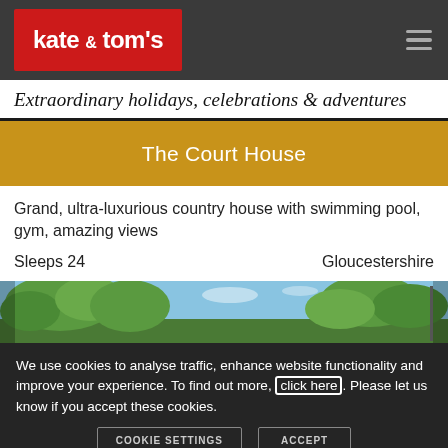[Figure (logo): Kate & Tom's logo — white text on red background, in navigation bar]
Extraordinary holidays, celebrations & adventures
The Court House
Grand, ultra-luxurious country house with swimming pool, gym, amazing views
Sleeps 24                                          Gloucestershire
[Figure (photo): Outdoor photo showing blue sky and green trees, partial view of building]
We use cookies to analyse traffic, enhance website functionality and improve your experience. To find out more, click here. Please let us know if you accept these cookies.
COOKIE SETTINGS   ACCEPT